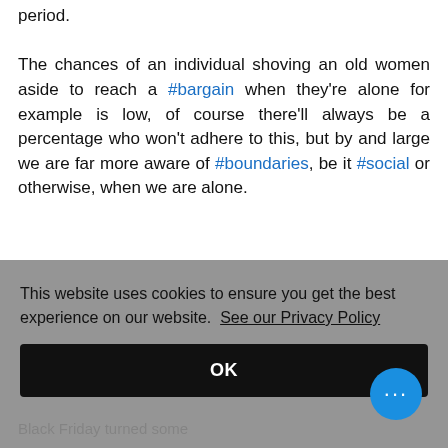period. The chances of an individual shoving an old women aside to reach a #bargain when they're alone for example is low, of course there'll always be a percentage who won't adhere to this, but by and large we are far more aware of #boundaries, be it #social or otherwise, when we are alone.
This website uses cookies to ensure you get the best experience on our website. See our Privacy Policy
OK
Black Friday turned some